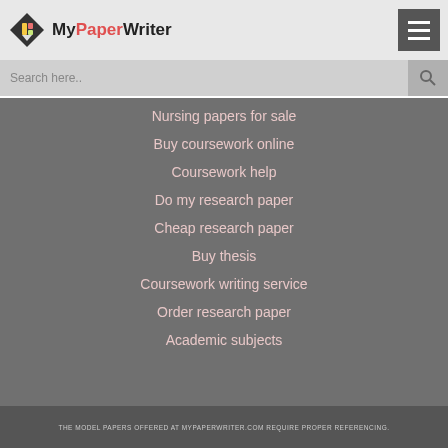MyPaperWriter
Search here..
Nursing papers for sale
Buy coursework online
Coursework help
Do my research paper
Cheap research paper
Buy thesis
Coursework writing service
Order research paper
Academic subjects
THE MODEL PAPERS OFFERED AT MYPAPERWRITER.COM REQUIRE PROPER REFERENCING.